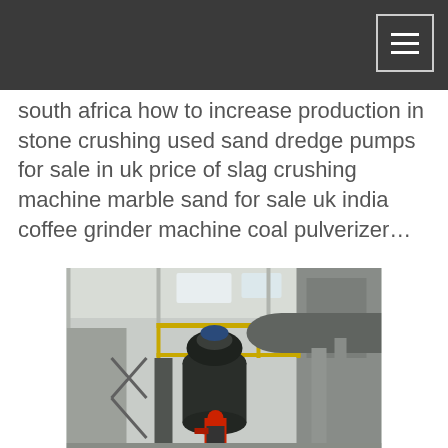south africa how to increase production in stone crushing used sand dredge pumps for sale in uk price of slag crushing machine marble sand for sale uk india coffee grinder machine coal pulverizer…
[Figure (photo): Industrial grinding/milling machine in a factory setting. A large vertical roller mill or pulverizer is visible in the center with yellow safety railings on a platform above. A worker in red and black gear stands at the base. Large grey pipes and industrial structures surround the machine inside a warehouse with natural light coming through skylights.]